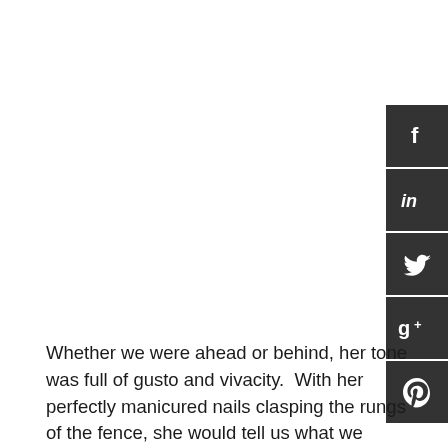[Figure (infographic): Social media sharing buttons sidebar on right edge: Facebook (f), LinkedIn (in), Twitter (bird), Google+ (g+), Pinterest (P) — all dark charcoal square buttons with white icons]
Whether we were ahead or behind, her tone was full of gusto and vivacity.  With her perfectly manicured nails clasping the rungs of the fence, she would tell us what we needed to hear.